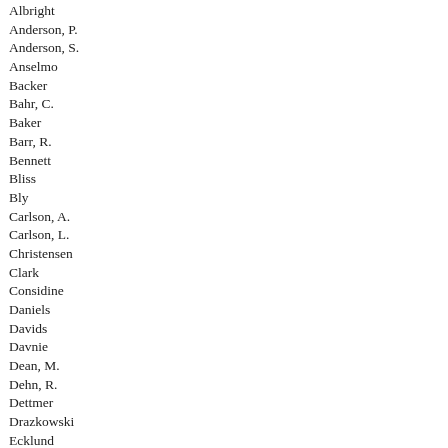Albright
Anderson, P.
Anderson, S.
Anselmo
Backer
Bahr, C.
Baker
Barr, R.
Bennett
Bliss
Bly
Carlson, A.
Carlson, L.
Christensen
Clark
Considine
Daniels
Davids
Davnie
Dean, M.
Dehn, R.
Dettmer
Drazkowski
Ecklund
Erickson
Fabian
Fenton
Fischer
Flanagan
Franke
Franson
Freiberg
Garofalo
Green
Grossell
Gruenhagen
Gunther
Haley
Halverson
Hamilton
Hansen
Hausman